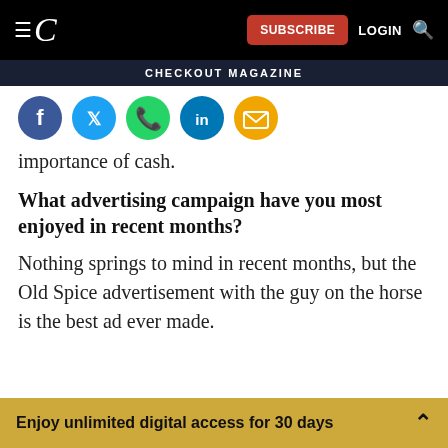C | SUBSCRIBE | LOGIN | Search
CHECKOUT MAGAZINE
[Figure (illustration): Social media sharing icons: Facebook (blue), Twitter (blue), WhatsApp (green), LinkedIn (blue), Email (yellow/orange), on circular backgrounds]
importance of cash.
What advertising campaign have you most enjoyed in recent months?
Nothing springs to mind in recent months, but the Old Spice advertisement with the guy on the horse is the best ad ever made.
Enjoy unlimited digital access for 30 days